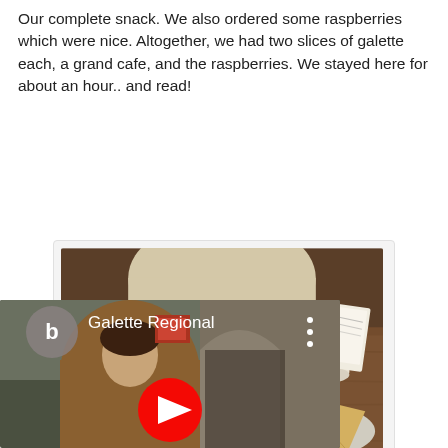Our complete snack. We also ordered some raspberries which were nice. Altogether, we had two slices of galette each, a grand cafe, and the raspberries. We stayed here for about an hour.. and read!
[Figure (photo): Photo of a wooden table with cups of tea, slices of galette on a plate, a small bowl of raspberries, a creamer jug, and a menu card. A person in a cream sweater is visible reaching for a cup.]
[Figure (screenshot): YouTube video thumbnail showing 'Galette Regional' with a person in a brown jacket, a YouTube play button overlay, and a vertical three-dot menu icon. The video thumbnail shows a stone archway background.]